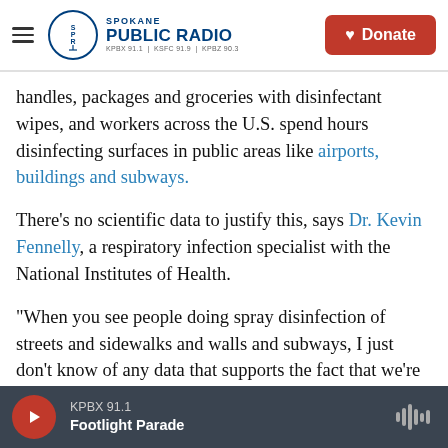Spokane Public Radio — KPBX 91.1 | KSFC 91.9 | KPBZ 90.3 — Donate
handles, packages and groceries with disinfectant wipes, and workers across the U.S. spend hours disinfecting surfaces in public areas like airports, buildings and subways.
There's no scientific data to justify this, says Dr. Kevin Fennelly, a respiratory infection specialist with the National Institutes of Health.
"When you see people doing spray disinfection of streets and sidewalks and walls and subways, I just don't know of any data that supports the fact that we're getting infected from viruses that are
KPBX 91.1 — Footlight Parade